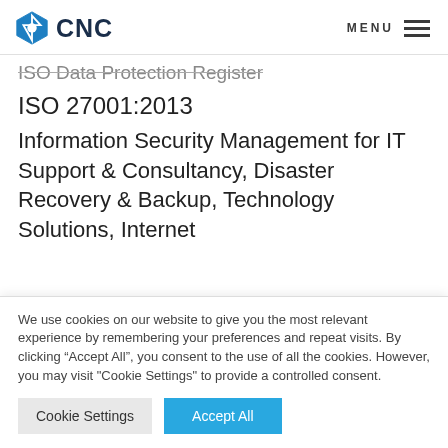CNC — ISO Data Protection Register
ISO Data Protection Register
ISO 27001:2013
Information Security Management for IT Support & Consultancy, Disaster Recovery & Backup, Technology Solutions, Internet
We use cookies on our website to give you the most relevant experience by remembering your preferences and repeat visits. By clicking “Accept All”, you consent to the use of all the cookies. However, you may visit "Cookie Settings" to provide a controlled consent.
Cookie Settings | Accept All